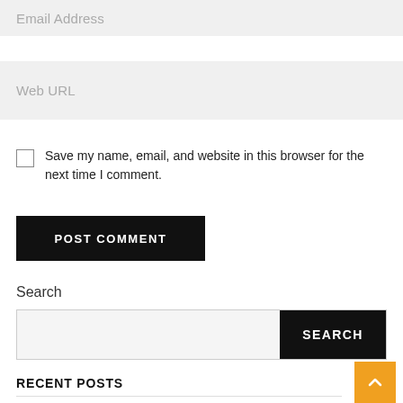Email Address
Web URL
Save my name, email, and website in this browser for the next time I comment.
POST COMMENT
Search
SEARCH
RECENT POSTS